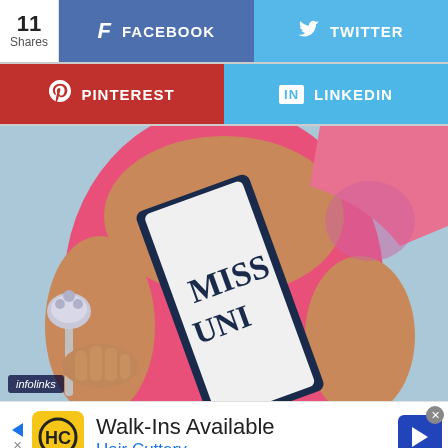[Figure (screenshot): Social sharing bar showing share count (11 Shares), Facebook button (blue), Twitter button (light blue), Pinterest button (red), LinkedIn button (light blue)]
[Figure (photo): Photo of a woman wearing a pink swimsuit with a Miss Universe sash and holding a rhinestone crown/scepter. An infolinks badge appears in the lower left corner.]
[Figure (screenshot): Advertisement banner for Hair Cuttery showing yellow HC logo, text 'Walk-Ins Available' and 'Hair Cuttery', with navigation arrow button on the right and close button.]